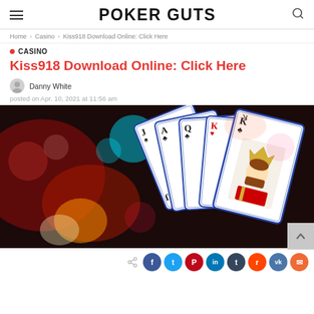POKER GUTS
Home > Casino > Kiss918 Download Online: Click Here
CASINO
Kiss918 Download Online: Click Here
Danny White
posted on Apr. 10, 2021 at 11:56 am
[Figure (photo): Playing cards (Jack, Ace, Queen of clubs, King of hearts, King of clubs) fanned out against colorful bokeh lights background in red, orange, cyan and green]
Share buttons: Facebook, Twitter, Pinterest, LinkedIn, Tumblr, Reddit, VK, Email